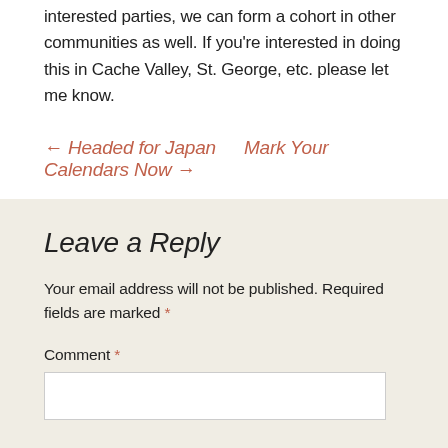interested parties, we can form a cohort in other communities as well.  If you're interested in doing this in Cache Valley, St. George, etc. please let me know.
← Headed for Japan   Mark Your Calendars Now  →
Leave a Reply
Your email address will not be published. Required fields are marked *
Comment *